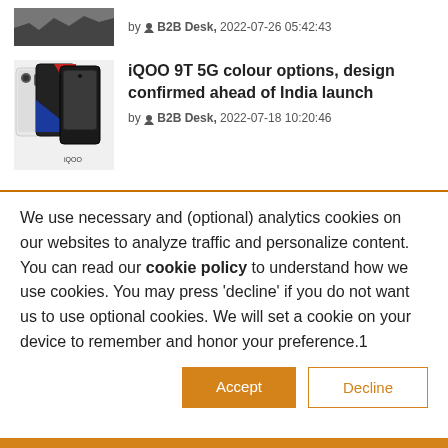by B2B Desk, 2022-07-26 05:42:43
[Figure (photo): Grayscale landscape/war scene thumbnail]
[Figure (photo): iQOO 9T 5G smartphones in multiple colors (black, white, red/blue) shown from front and back]
iQOO 9T 5G colour options, design confirmed ahead of India launch
by B2B Desk, 2022-07-18 10:20:46
We use necessary and (optional) analytics cookies on our websites to analyze traffic and personalize content. You can read our cookie policy to understand how we use cookies. You may press 'decline' if you do not want us to use optional cookies. We will set a cookie on your device to remember and honor your preference.1